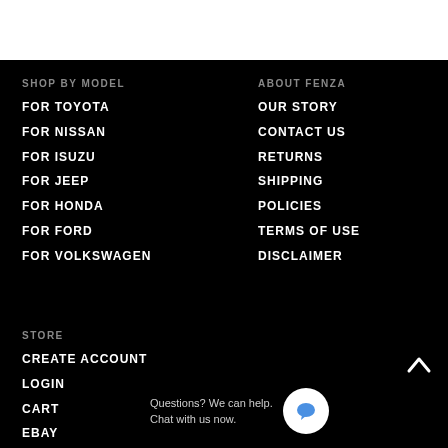SHOP BY MODEL
FOR TOYOTA
FOR NISSAN
FOR ISUZU
FOR JEEP
FOR HONDA
FOR FORD
FOR VOLKSWAGEN
ABOUT FENZA
OUR STORY
CONTACT US
RETURNS
SHIPPING
POLICIES
TERMS OF USE
DISCLAIMER
STORE
CREATE ACCOUNT
LOGIN
CART
EBAY
Questions? We can help. Chat with us now.